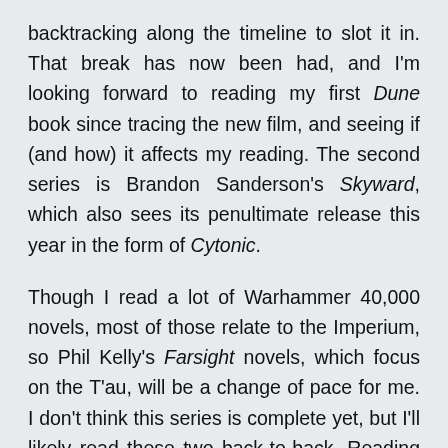backtracking along the timeline to slot it in. That break has now been had, and I'm looking forward to reading my first Dune book since tracing the new film, and seeing if (and how) it affects my reading. The second series is Brandon Sanderson's Skyward, which also sees its penultimate release this year in the form of Cytonic.
Though I read a lot of Warhammer 40,000 novels, most of those relate to the Imperium, so Phil Kelly's Farsight novels, which focus on the T'au, will be a change of pace for me. I don't think this series is complete yet, but I'll likely read these two back-to-back. Reading series in a solid block is something I want to do more of in 2022, so this will be good practise.
This month's TBR also includes two non-SF books that will probably take up a considerable amount of time...